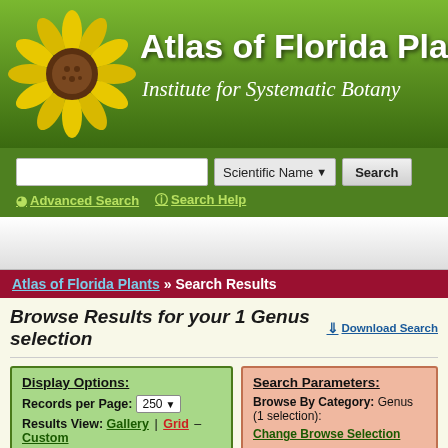[Figure (illustration): Atlas of Florida Plants header banner with yellow flower (sunflower-like) on left and green gradient background. White bold text reads 'Atlas of Florida Plants' with italic subtitle 'Institute for Systematic Botany'.]
Scientific Name  Search  Advanced Search  Search Help
Atlas of Florida Plants » Search Results
Browse Results for your 1 Genus selection
Download Search
Display Options: Records per Page: 250  Results View: Gallery | Grid – Custom Column Descriptions
Search Parameters: Browse By Category: Genus (1 selection):  Change Browse Selection
Check All  Check Photos —  Compare Records —
Plant species within the CORCHORUS genus are shown below. For quick access to genus